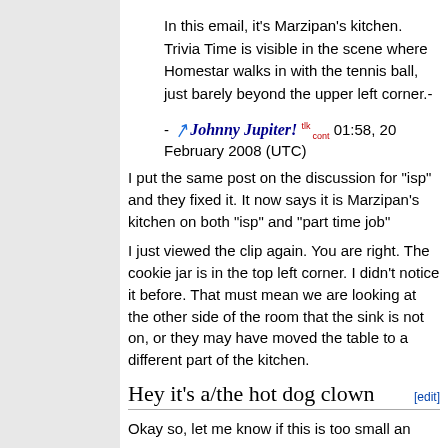In this email, it's Marzipan's kitchen. Trivia Time is visible in the scene where Homestar walks in with the tennis ball, just barely beyond the upper left corner.- - Johnny Jupiter! tlk cont 01:58, 20 February 2008 (UTC)
I put the same post on the discussion for "isp" and they fixed it. It now says it is Marzipan's kitchen on both "isp" and "part time job"
I just viewed the clip again. You are right. The cookie jar is in the top left corner. I didn't notice it before. That must mean we are looking at the other side of the room that the sink is not on, or they may have moved the table to a different part of the kitchen.
Hey it's a/the hot dog clown
Okay so, let me know if this is too small an